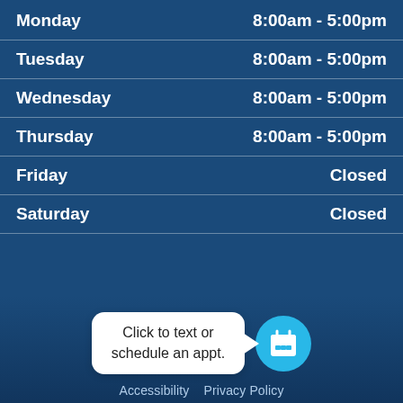| Day | Hours |
| --- | --- |
| Monday | 8:00am - 5:00pm |
| Tuesday | 8:00am - 5:00pm |
| Wednesday | 8:00am - 5:00pm |
| Thursday | 8:00am - 5:00pm |
| Friday | Closed |
| Saturday | Closed |
[Figure (illustration): White speech bubble tooltip with text 'Click to text or schedule an appt.' and a cyan circular calendar icon button to the right]
Accessibility   Privacy Policy